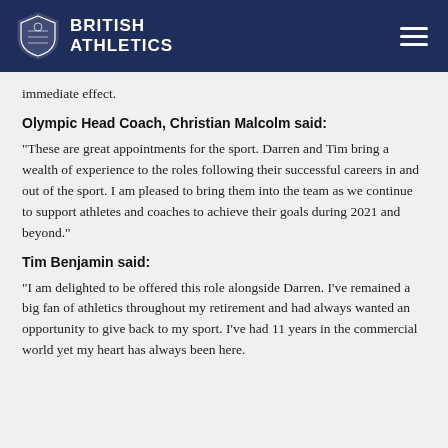BRITISH ATHLETICS
immediate effect.
Olympic Head Coach, Christian Malcolm said:
“These are great appointments for the sport. Darren and Tim bring a wealth of experience to the roles following their successful careers in and out of the sport. I am pleased to bring them into the team as we continue to support athletes and coaches to achieve their goals during 2021 and beyond.”
Tim Benjamin said:
“I am delighted to be offered this role alongside Darren. I’ve remained a big fan of athletics throughout my retirement and had always wanted an opportunity to give back to my sport. I’ve had 11 years in the commercial world yet my heart has always been here.